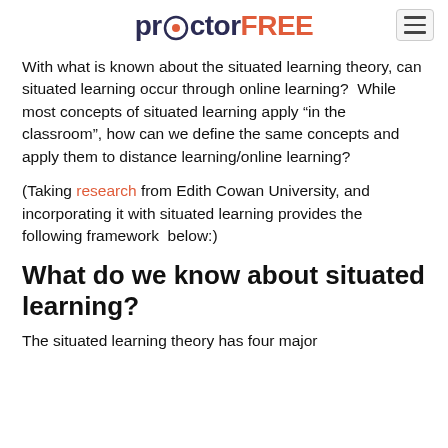proctorFREE
With what is known about the situated learning theory, can situated learning occur through online learning?  While most concepts of situated learning apply “in the classroom”, how can we define the same concepts and apply them to distance learning/online learning?
(Taking research from Edith Cowan University, and incorporating it with situated learning provides the following framework below:)
What do we know about situated learning?
The situated learning theory has four major